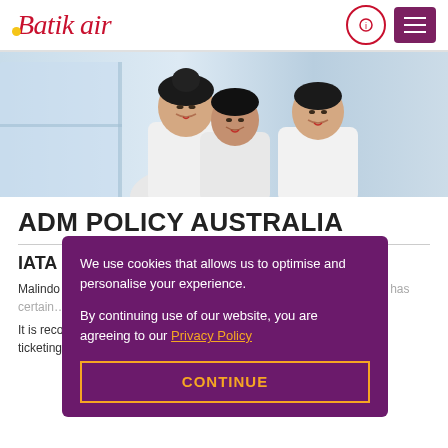Batik Air
[Figure (photo): Three female flight attendants in white uniforms posing together against a window backdrop]
ADM POLICY AUSTRALIA
IATA Resolution (partially obscured)
Malindo Airwa... resolution co... Memos (ADM...
It is recommended that all members of the sales and ticketing rules carefully as well as make them known to
We use cookies that allows us to optimise and personalise your experience.

By continuing use of our website, you are agreeing to our Privacy Policy

CONTINUE